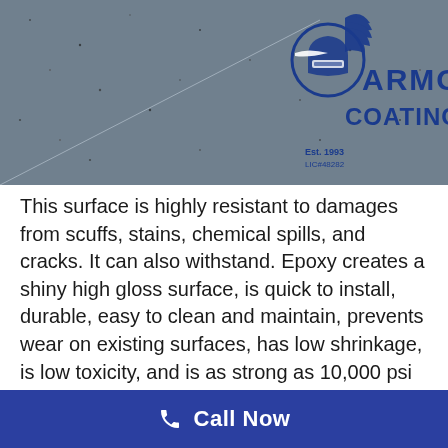[Figure (photo): Photo of a speckled epoxy floor coating in dark gray/blue tones with the Armor Coatings logo (a Roman soldier helmet) and company name in blue text on the right side. Est. 1993 and license number visible below the logo.]
This surface is highly resistant to damages from scuffs, stains, chemical spills, and cracks. It can also withstand. Epoxy creates a shiny high gloss surface, is quick to install, durable, easy to clean and maintain, prevents wear on existing surfaces, has low shrinkage, is low toxicity, and is as strong as 10,000 psi — standard concrete is typically between 4,000 and 5,000 psi. It also enhances the lifespan of your existing concrete two or three decades. Concrete
Call Now